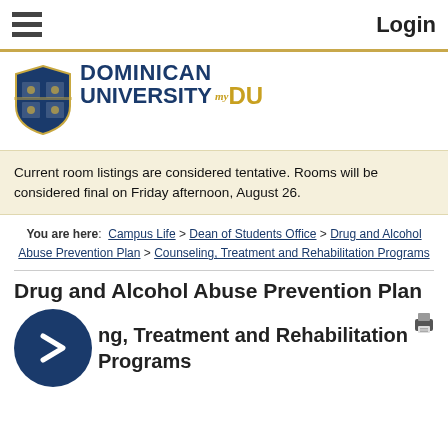Login
[Figure (logo): Dominican University myDU logo with shield crest]
Current room listings are considered tentative. Rooms will be considered final on Friday afternoon, August 26.
You are here: Campus Life > Dean of Students Office > Drug and Alcohol Abuse Prevention Plan > Counseling, Treatment and Rehabilitation Programs
Drug and Alcohol Abuse Prevention Plan
Counseling, Treatment and Rehabilitation Programs